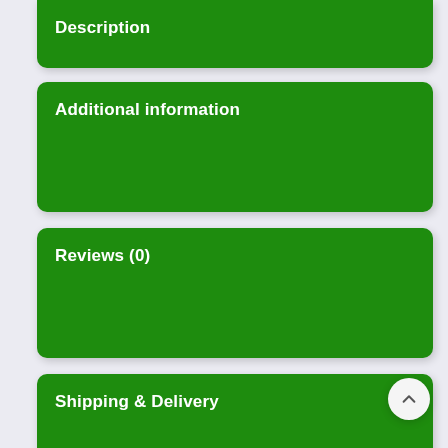Description
Additional information
Reviews (0)
Shipping & Delivery